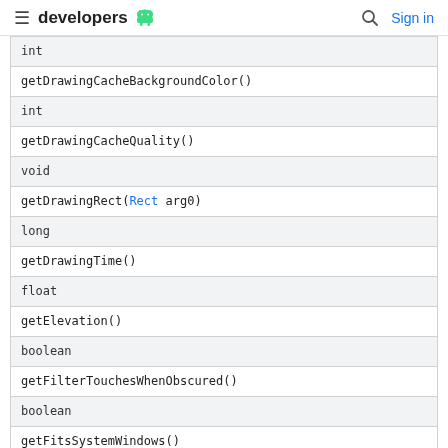developers [android logo]   [search]   Sign in
| int |
| getDrawingCacheBackgroundColor() |
| int |
| getDrawingCacheQuality() |
| void |
| getDrawingRect(Rect arg0) |
| long |
| getDrawingTime() |
| float |
| getElevation() |
| boolean |
| getFilterTouchesWhenObscured() |
| boolean |
| getFitsSystemWindows() |